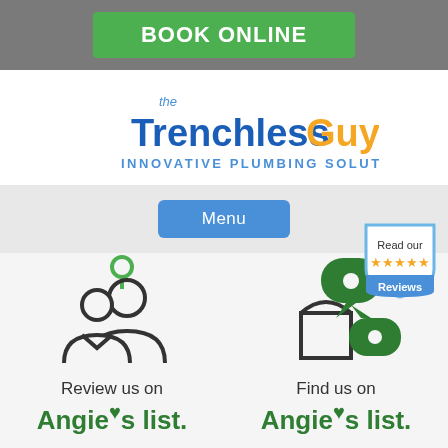BOOK ONLINE
[Figure (logo): The TrenchlessGuys - Innovative Plumbing Solutions logo with blue and gold text]
Menu
[Figure (illustration): Two person silhouette icons with green heart above - Review us on Angie's list illustration]
Review us on
Angie's list.
[Figure (illustration): Chat bubbles with house icon and five star review badge - Find us on Angie's list illustration]
Find us on
Angie's list.